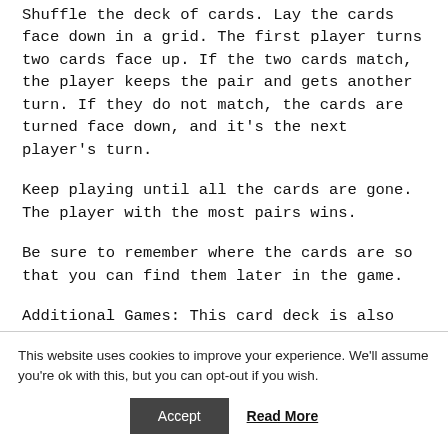Shuffle the deck of cards. Lay the cards face down in a grid. The first player turns two cards face up. If the two cards match, the player keeps the pair and gets another turn. If they do not match, the cards are turned face down, and it's the next player's turn.
Keep playing until all the cards are gone. The player with the most pairs wins.
Be sure to remember where the cards are so that you can find them later in the game.
Additional Games: This card deck is also ideal for playing any game that involves pairs. Go fish and old
This website uses cookies to improve your experience. We'll assume you're ok with this, but you can opt-out if you wish.